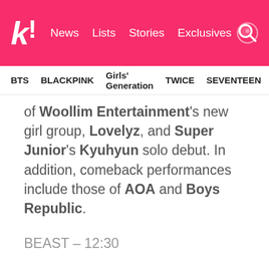koreaboo | News  Lists  Stories  Exclusives
BTS  BLACKPINK  Girls' Generation  TWICE  SEVENTEEN
of Woollim Entertainment's new girl group, Lovelyz, and Super Junior's Kyuhyun solo debut. In addition, comeback performances include those of AOA and Boys Republic.
BEAST – 12:30